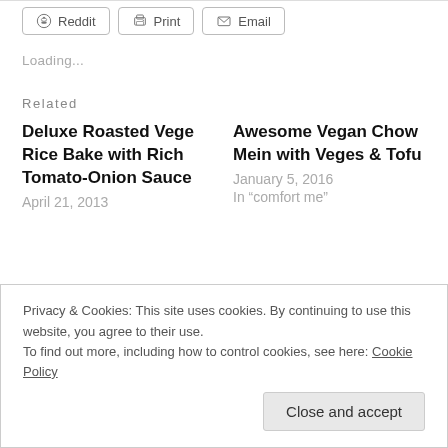[Figure (screenshot): Share buttons row: Reddit, Print, Email]
Loading...
Related
Deluxe Roasted Vege Rice Bake with Rich Tomato-Onion Sauce
April 21, 2013
Awesome Vegan Chow Mein with Veges & Tofu
January 5, 2016
In "comfort me"
Privacy & Cookies: This site uses cookies. By continuing to use this website, you agree to their use.
To find out more, including how to control cookies, see here: Cookie Policy
Close and accept